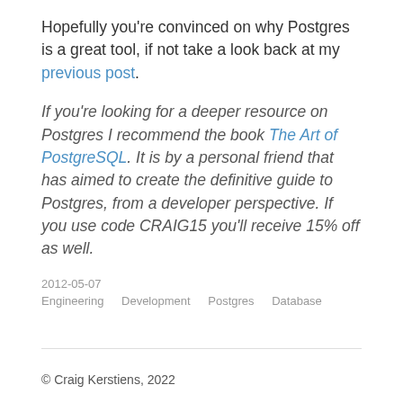Hopefully you're convinced on why Postgres is a great tool, if not take a look back at my previous post.
If you're looking for a deeper resource on Postgres I recommend the book The Art of PostgreSQL. It is by a personal friend that has aimed to create the definitive guide to Postgres, from a developer perspective. If you use code CRAIG15 you'll receive 15% off as well.
2012-05-07
Engineering   Development   Postgres   Database
© Craig Kerstiens, 2022